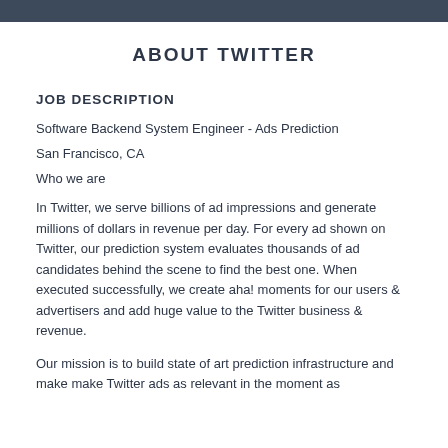ABOUT TWITTER
JOB DESCRIPTION
Software Backend System Engineer - Ads Prediction
San Francisco, CA
Who we are
In Twitter, we serve billions of ad impressions and generate millions of dollars in revenue per day. For every ad shown on Twitter, our prediction system evaluates thousands of ad candidates behind the scene to find the best one. When executed successfully, we create aha! moments for our users & advertisers and add huge value to the Twitter business & revenue.
Our mission is to build state of art prediction infrastructure and make make Twitter ads as relevant in the moment as